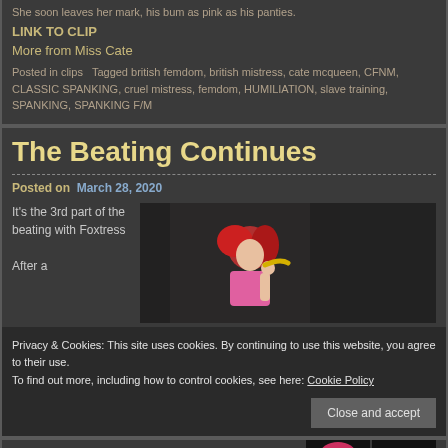She soon leaves her mark, his bum as pink as his panties.
LINK TO CLIP
More from Miss Cate
Posted in clips   Tagged british femdom, british mistress, cate mcqueen, CFNM, CLASSIC SPANKING, cruel mistress, femdom, HUMILIATION, slave training, SPANKING, SPANKING F/M
The Beating Continues
Posted on   March 28, 2020
It's the 3rd part of the beating with Foxtress
After a
[Figure (photo): Red-haired woman in pink outfit holding something, dark background]
spoons (see
Privacy & Cookies: This site uses cookies. By continuing to use this website, you agree to their use.
To find out more, including how to control cookies, see here: Cookie Policy
Close and accept